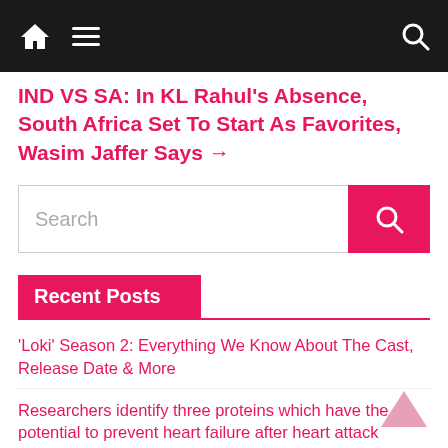Navigation bar with home, menu, and search icons
IND VS SA: In KL Rahul's Absence, South Africa Set To Start As Favorites, Wasim Jaffer Says →
Search
Recent Posts
'Loki' Season 2: Everything We Know About The Cast, Release Date & More
Researchers identify three proteins which have the potential to prevent heart failure after heart attack
Clara Chia Marti: 5 Things To Know About Woman Seen With Gerard Pique After Shakira Split
Africa Should Trade its Carbon Credits to Fund Renewable Energy – Expert